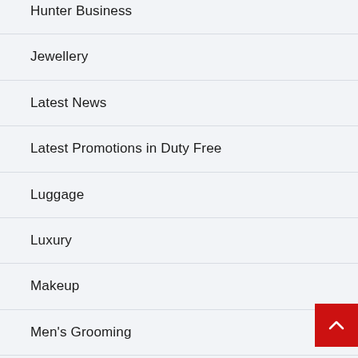Hunter Business
Jewellery
Latest News
Latest Promotions in Duty Free
Luggage
Luxury
Makeup
Men's Grooming
Skincare & Haircare